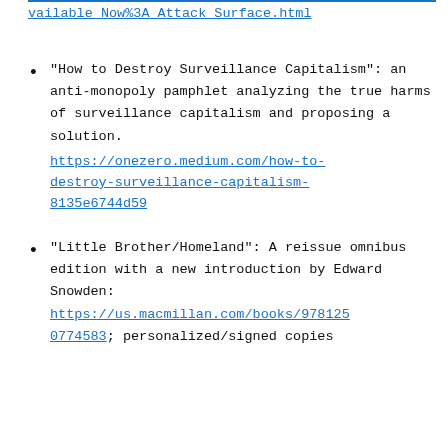vailable_Now%3A_Attack_Surface.html
"How to Destroy Surveillance Capitalism": an anti-monopoly pamphlet analyzing the true harms of surveillance capitalism and proposing a solution. https://onezero.medium.com/how-to-destroy-surveillance-capitalism-8135e6744d59
"Little Brother/Homeland": A reissue omnibus edition with a new introduction by Edward Snowden: https://us.macmillan.com/books/9781250774583; personalized/signed copies